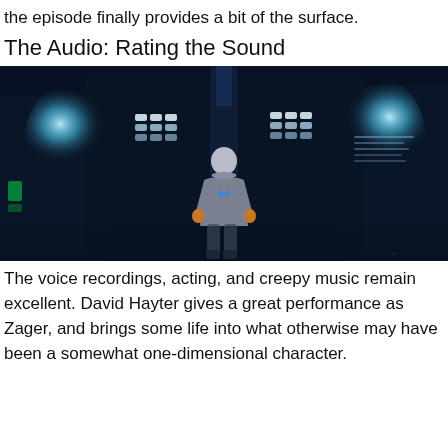the episode finally provides a bit of the surface.
The Audio: Rating the Sound
[Figure (screenshot): A dark sci-fi scene showing a character viewed from behind, standing in front of large glowing blue-white lights and screens in a dimly lit high-tech room.]
The voice recordings, acting, and creepy music remain excellent. David Hayter gives a great performance as Zager, and brings some life into what otherwise may have been a somewhat one-dimensional character.